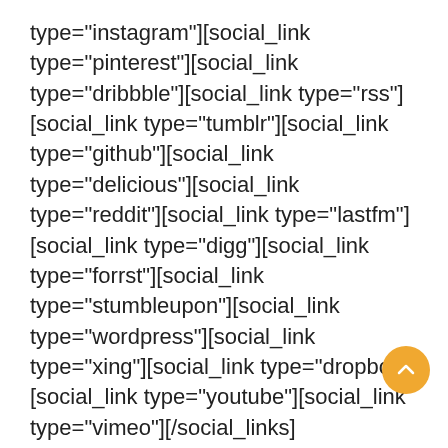type="instagram"][social_link type="pinterest"][social_link type="dribbble"][social_link type="rss"][social_link type="tumblr"][social_link type="github"][social_link type="delicious"][social_link type="reddit"][social_link type="lastfm"][social_link type="digg"][social_link type="forrst"][social_link type="stumbleupon"][social_link type="wordpress"][social_link type="xing"][social_link type="dropbox"][social_link type="youtube"][social_link type="vimeo"][/social_links][/vc_column_inner][/vc_row_inner][/vc_column][/vc_row][vc_row type="grid" video_bg="" row_type="section" bg_image_repeat="repeat" padding_top="50" css=".vc_custom_1416672068258{margin-top: